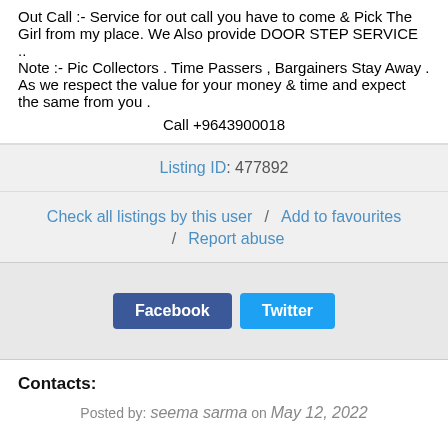Out Call :- Service for out call you have to come & Pick The Girl from my place. We Also provide DOOR STEP SERVICE .. Note :- Pic Collectors . Time Passers , Bargainers Stay Away . As we respect the value for your money & time and expect the same from you . Call +9643900018
Listing ID: 477892
Check all listings by this user / Add to favourites / Report abuse
Facebook Twitter
Contacts:
Posted by: seema sarma on May 12, 2022